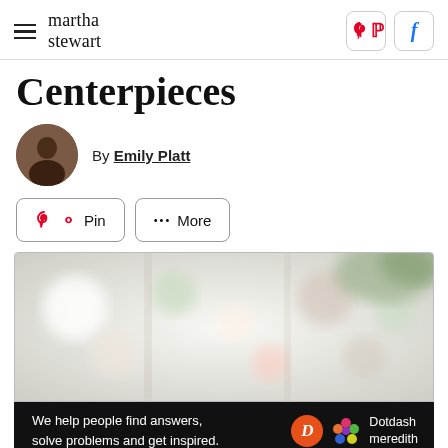martha stewart
Centerpieces
By Emily Platt
[Figure (photo): Blurred bokeh photo of floral centerpieces with soft light]
We help people find answers, solve problems and get inspired. Dotdash meredith